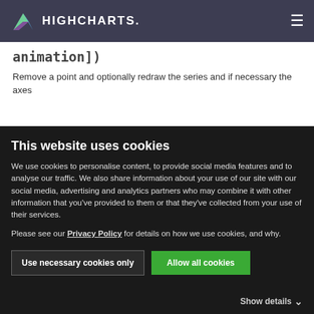HIGHCHARTS.
animation])
Remove a point and optionally redraw the series and if necessary the axes
This website uses cookies
We use cookies to personalise content, to provide social media features and to analyse our traffic. We also share information about your use of our site with our social media, advertising and analytics partners who may combine it with other information that you've provided to them or that they've collected from your use of their services.
Please see our Privacy Policy for details on how we use cookies, and why.
Use necessary cookies only
Allow all cookies
Show details